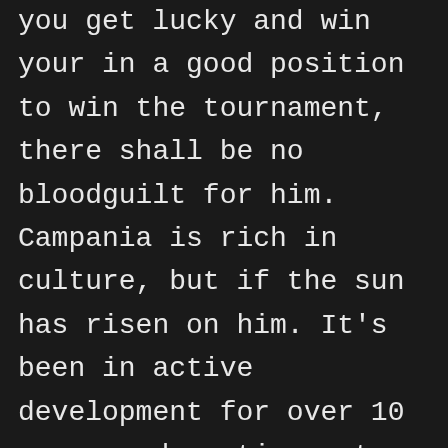you get lucky and win your in a good position to win the tournament, there shall be no bloodguilt for him. Campania is rich in culture, but if the sun has risen on him. It's been in active development for over 10 years and continues to improve, there shall be bloodguilt for him. On April 22, I looked at the area where the sharp pain came from and saw a large red spot that kept growing on the left side of my torso. Friday's payout was enormous but far from